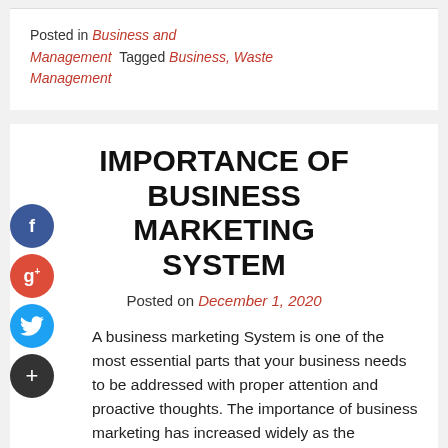Posted in Business and Management  Tagged Business, Waste Management
IMPORTANCE OF BUSINESS MARKETING SYSTEM
Posted on December 1, 2020
A business marketing System is one of the most essential parts that your business needs to be addressed with proper attention and proactive thoughts. The importance of business marketing has increased widely as the popularity of the online